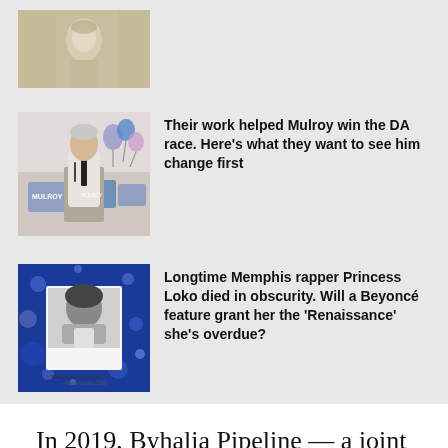[Figure (photo): Statue/sculpture photo, cropped at top, partially visible]
[Figure (photo): Man speaking at a podium with Mulroy campaign signs and balloons in the background]
Their work helped Mulroy win the DA race. Here's what they want to see him change first
[Figure (photo): Black and white photo of Princess Loko on a blue sparkly background with text 'Raps ain't stopping me - Princess Loko, 1993']
Longtime Memphis rapper Princess Loko died in obscurity. Will a Beyoncé feature grant her the 'Renaissance' she's overdue?
In 2019, Byhalia Pipeline — a joint venture of Texas-based Plains All American Pipeline